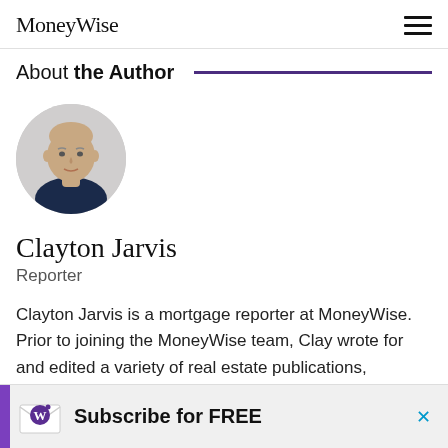MoneyWise
About the Author
[Figure (photo): Circular headshot of Clayton Jarvis, a bald man in a dark navy shirt, against a light grey background]
Clayton Jarvis
Reporter
Clayton Jarvis is a mortgage reporter at MoneyWise. Prior to joining the MoneyWise team, Clay wrote for and edited a variety of real estate publications, including Canadian Real Estate Wealth, Real Estate Professional, Mortgage Broker News, Canadian Mortgage
[Figure (infographic): Subscribe for FREE advertisement banner with MoneyWise envelope logo icon on light grey background]